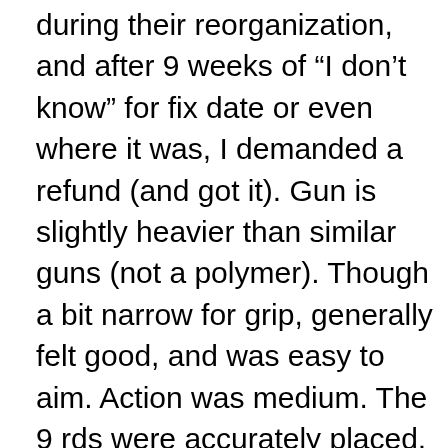during their reorganization, and after 9 weeks of “I don’t know” for fix date or even where it was, I demanded a refund (and got it). Gun is slightly heavier than similar guns (not a polymer). Though a bit narrow for grip, generally felt good, and was easy to aim. Action was medium. The 9 rds were accurately placed, and the 3 brands had no issue. Mags worked fine. Trigger pull was medium. Liked the gun initially. Appears a small, horseshoe spring is critical in takedown and reassembly, and the ramp (some say gritty, I didn’t think so) feel of the Pederson action was a little different, but not a problem. This could have